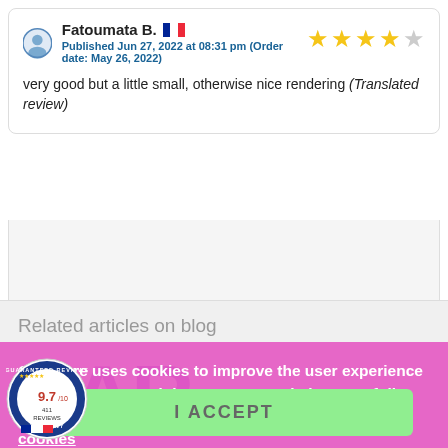Fatoumata B. [FR flag] ★★★★☆ Published Jun 27, 2022 at 08:31 pm (Order date: May 26, 2022) very good but a little small, otherwise nice rendering (Translated review)
Related articles on blog
Our store uses cookies to improve the user experience and we recommend that you accept their use to fully enjoy your browsing. More information customize cookies
I ACCEPT